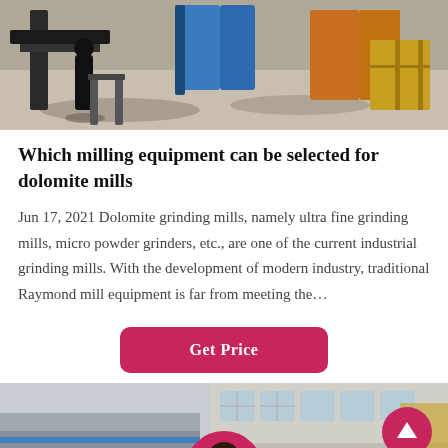[Figure (photo): Industrial milling/grinding equipment photographed outdoors, showing machinery with blue and orange/yellow components on a concrete surface]
Which milling equipment can be selected for dolomite mills
Jun 17, 2021 Dolomite grinding mills, namely ultra fine grinding mills, micro powder grinders, etc., are one of the current industrial grinding mills. With the development of modern industry, traditional Raymond mill equipment is far from meeting the…
[Figure (photo): Get Price button — pink/magenta rounded rectangle button with white bold text]
[Figure (photo): Bottom section showing industrial facility building exterior photo, with a dark bar containing Leave Message and Chat Online links, a circular avatar of a woman with headset in the center, and an upward arrow button on the right]